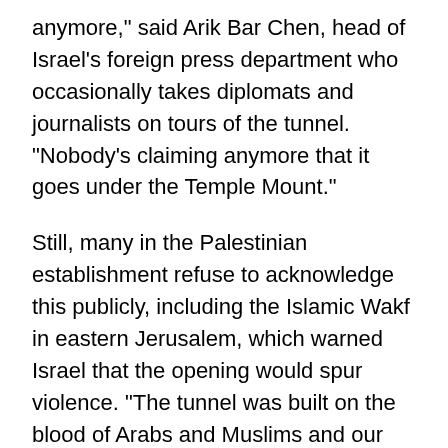anymore," said Arik Bar Chen, head of Israel's foreign press department who occasionally takes diplomats and journalists on tours of the tunnel. "Nobody's claiming anymore that it goes under the Temple Mount."
Still, many in the Palestinian establishment refuse to acknowledge this publicly, including the Islamic Wakf in eastern Jerusalem, which warned Israel that the opening would spur violence. "The tunnel was built on the blood of Arabs and Muslims and our rights," Wakf director Adnan Husseini told the Middle East News Service on July 11. "The file (on this issue) is still open."
Several Israeli guards currently man the Hasmonean exit on the Via Dolorosa, but mainly for show. The tunnel today is mobbed only by tourists. There has been no violence here since last September, when the opening sparked riots that